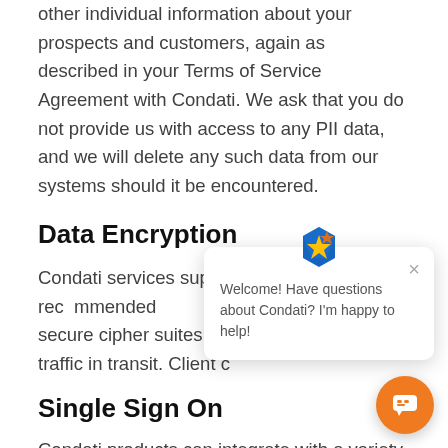other individual information about your prospects and customers, again as described in your Terms of Service Agreement with Condati. We ask that you do not provide us with access to any PII data, and we will delete any such data from our systems should it be encountered.
Data Encryption
Condati services support the latest recommended secure cipher suites an… traffic in transit. Client c…
Single Sign On
Condati products can integrate with a variety of … sign-on providers. Teams can enable Google Apps for
[Figure (screenshot): Chat widget popup with Condati logo icon, close button, and text 'Welcome! Have questions about Condati? I'm happy to help!' along with an orange circular chat button in the bottom-right corner.]